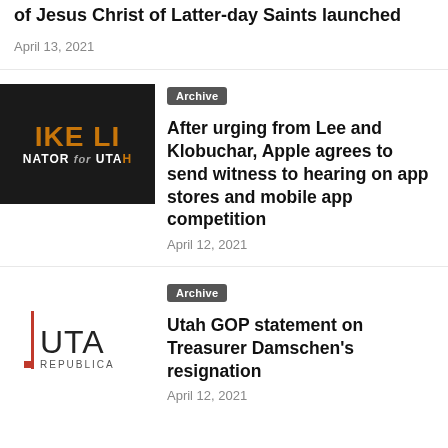of Jesus Christ of Latter-day Saints launched
April 13, 2021
[Figure (logo): IKE LEE SENATOR for UTAH campaign logo on dark background with orange text]
Archive
After urging from Lee and Klobuchar, Apple agrees to send witness to hearing on app stores and mobile app competition
April 12, 2021
[Figure (logo): Utah Republican Party logo - UTA REPUBLICA with vertical red bar]
Archive
Utah GOP statement on Treasurer Damschen's resignation
April 12, 2021